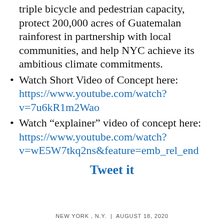triple bicycle and pedestrian capacity, protect 200,000 acres of Guatemalan rainforest in partnership with local communities, and help NYC achieve its ambitious climate commitments.
Watch Short Video of Concept here: https://www.youtube.com/watch?v=7u6kR1m2Wao
Watch "explainer" video of concept here: https://www.youtube.com/watch?v=wE5W7tkq2ns&feature=emb_rel_end
Tweet it
NEW YORK , N.Y.  |  AUGUST 18, 2020